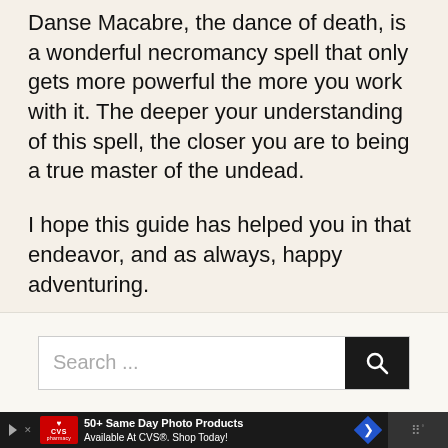Danse Macabre, the dance of death, is a wonderful necromancy spell that only gets more powerful the more you work with it. The deeper your understanding of this spell, the closer you are to being a true master of the undead.
I hope this guide has helped you in that endeavor, and as always, happy adventuring.
[Figure (screenshot): A search bar with placeholder text 'Search ...' and a dark search button with a magnifying glass icon]
[Figure (screenshot): CVS Pharmacy advertisement bar: '50+ Same Day Photo Products Available At CVS®. Shop Today!' with CVS logo, blue diamond arrow icon, and a dark panel on the right]